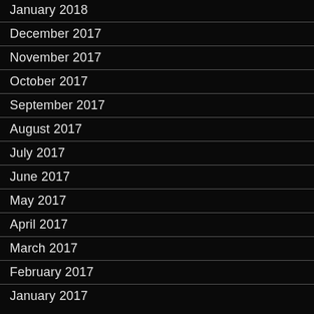January 2018
December 2017
November 2017
October 2017
September 2017
August 2017
July 2017
June 2017
May 2017
April 2017
March 2017
February 2017
January 2017